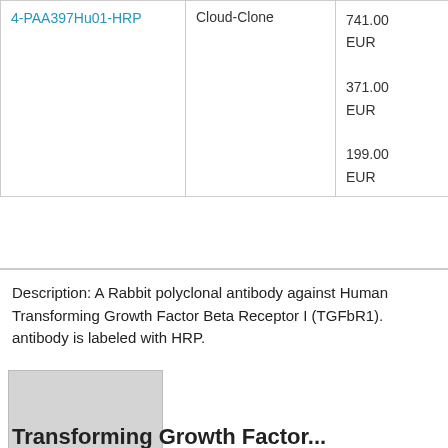| Product | Supplier | Price |
| --- | --- | --- |
| 4-PAA397Hu01-HRP | Cloud-Clone | 741.00 EUR
371.00 EUR
199.00 EUR |
Description: A Rabbit polyclonal antibody against Human Transforming Growth Factor Beta Receptor I (TGFbR1). antibody is labeled with HRP.
[Figure (photo): Thumbnail image of Transforming Growth Factor Beta Receptor I (TGFbR1) Polyclonal antibody product]
Transforming Growth Factor...